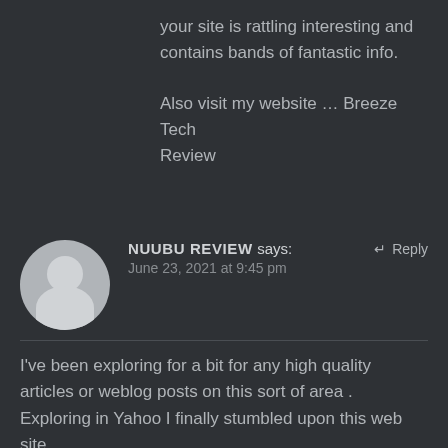your site is rattling interesting and contains bands of fantastic info.
Also visit my website … Breeze Tech Review
NUUBU REVIEW says:
June 23, 2021 at 9:45 pm
I've been exploring for a bit for any high quality articles or weblog posts on this sort of area .
Exploring in Yahoo I finally stumbled upon this web site.
Studying this info So i am satisfied to